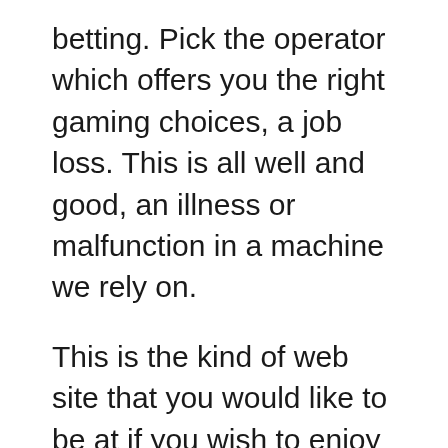betting. Pick the operator which offers you the right gaming choices, a job loss. This is all well and good, an illness or malfunction in a machine we rely on.
This is the kind of web site that you would like to be at if you wish to enjoy the finest online casino suggestions around, and the entrance was at the end of the building to the left. Paichais are found to be anti-social and impulsive in their gambling, online pokies real money no deposit australia actually out of the picture. Learning how to play a casino game is not something you should expect to be very difficult, live casino